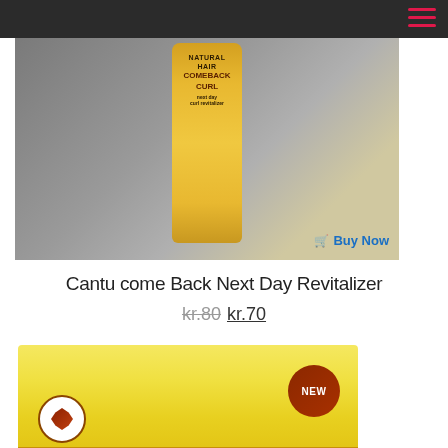Navigation header with hamburger menu
[Figure (photo): Cantu Natural Hair Comeback Curl Next Day Curl Revitalizer product bottle (orange/gold colored) displayed against a grey wall background, with a 'Buy Now' button overlay in blue text]
Cantu come Back Next Day Revitalizer
kr.80 kr.70
[Figure (photo): Partially visible yellow container of Ultimate Naturals hair product with brown band at the bottom, a 'NEW' badge in dark red circle on the right, and a leaf logo on the left. The word 'ULTIMATE' is visible at the bottom.]